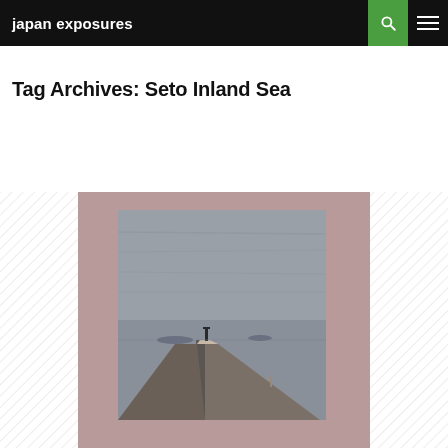japan exposures
Tag Archives: Seto Inland Sea
[Figure (photo): Book cover with mauve/dusty rose linen texture showing a black-and-white photograph of a concrete pier or jetty extending into calm water under an overcast sky, with a lone figure or post at the end of the pier and distant islands on the horizon]